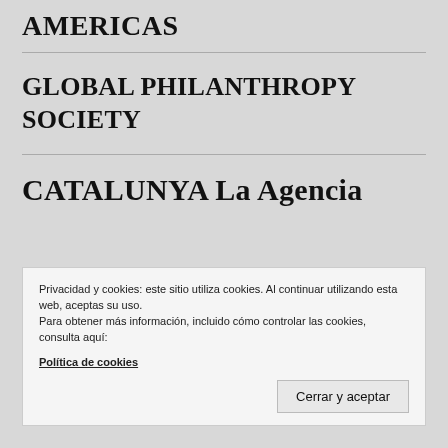AMERICAS
GLOBAL PHILANTHROPY SOCIETY
CATALUNYA La Agencia
Privacidad y cookies: este sitio utiliza cookies. Al continuar utilizando esta web, aceptas su uso.
Para obtener más información, incluido cómo controlar las cookies, consulta aquí:
Política de cookies
Cerrar y aceptar
CATALUNYA La Agencia